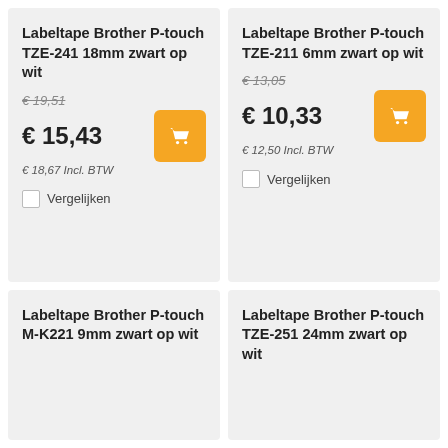Labeltape Brother P-touch TZE-241 18mm zwart op wit
€ 19,51 (old price) € 15,43 € 18,67 Incl. BTW
Vergelijken
Labeltape Brother P-touch TZE-211 6mm zwart op wit
€ 13,05 (old price) € 10,33 € 12,50 Incl. BTW
Vergelijken
Labeltape Brother P-touch M-K221 9mm zwart op wit
Labeltape Brother P-touch TZE-251 24mm zwart op wit